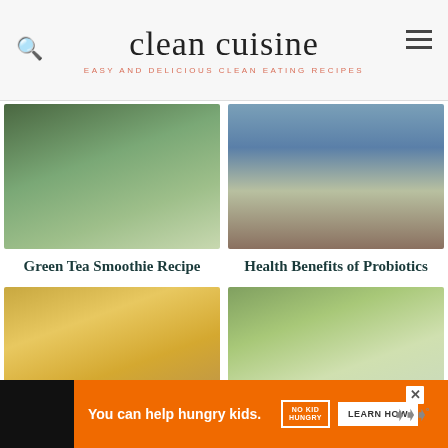clean cuisine
EASY AND DELICIOUS CLEAN EATING RECIPES
[Figure (photo): Green tea smoothie in a glass]
Green Tea Smoothie Recipe
[Figure (photo): Person walking outdoors wearing jeans]
Health Benefits of Probiotics
[Figure (photo): Ginger lemon tea in a glass mug with lemon slices]
[Figure (photo): Green juice with apple and mint leaves]
You can help hungry kids.
NO KID HUNGRY
LEARN HOW